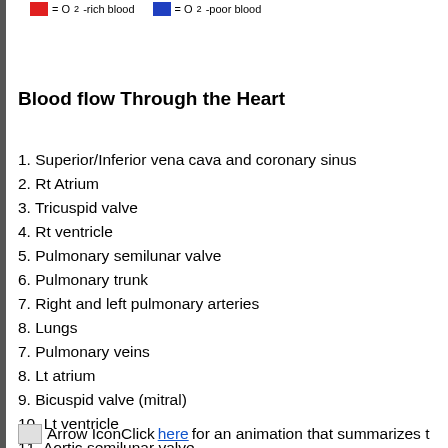[Figure (infographic): Legend showing red box = O2-rich blood and blue box = O2-poor blood]
Blood flow Through the Heart
1. Superior/Inferior vena cava and coronary sinus
2. Rt Atrium
3. Tricuspid valve
4. Rt ventricle
5. Pulmonary semilunar valve
6. Pulmonary trunk
7. Right and left pulmonary arteries
8. Lungs
7. Pulmonary veins
8. Lt atrium
9. Bicuspid valve (mitral)
10. Lt ventricle
11. Aortic semilunar valve
12. Ascending aorta
13. Coronary arteries
14. Arch of aorta
Arrow IconClick here for an animation that summarizes t